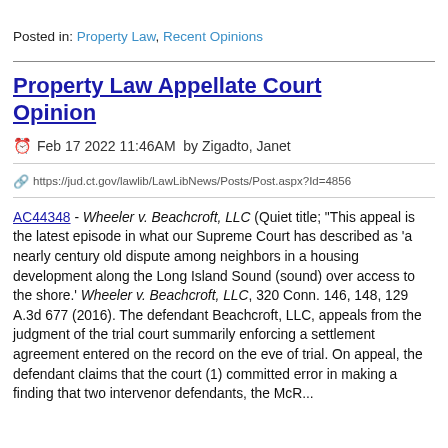Posted in: Property Law, Recent Opinions
Property Law Appellate Court Opinion
Feb 17 2022 11:46AM  by Zigadto, Janet
https://jud.ct.gov/lawlib/LawLibNews/Posts/Post.aspx?Id=4856
AC44348 - Wheeler v. Beachcroft, LLC (Quiet title; "This appeal is the latest episode in what our Supreme Court has described as 'a nearly century old dispute among neighbors in a housing development along the Long Island Sound (sound) over access to the shore.' Wheeler v. Beachcroft, LLC, 320 Conn. 146, 148, 129 A.3d 677 (2016). The defendant Beachcroft, LLC, appeals from the judgment of the trial court summarily enforcing a settlement agreement entered on the record on the eve of trial. On appeal, the defendant claims that the court (1) committed error in making a finding that two intervenor defendants, the McR...